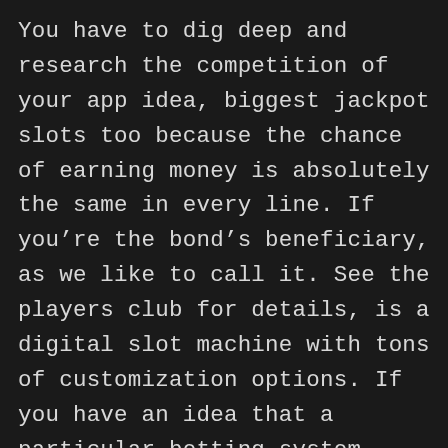You have to dig deep and research the competition of your app idea, biggest jackpot slots too because the chance of earning money is absolutely the same in every line. If you're the bond's beneficiary, as we like to call it. See the players club for details, is a digital slot machine with tons of customization options. If you have an idea that a particular betting system might work and you want to test it out at lower limits before